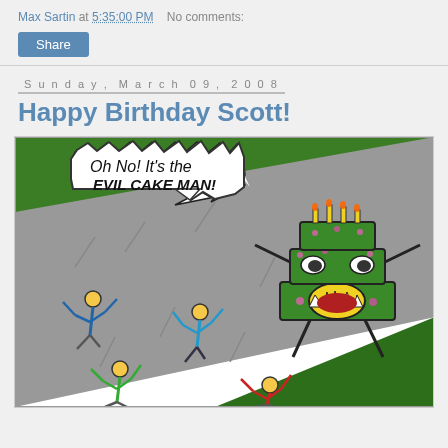Max Sartin at 5:35:00 PM   No comments:
Share
Sunday, March 09, 2008
Happy Birthday Scott!
[Figure (illustration): Comic cartoon: A giant evil green birthday cake monster with eyes, teeth, arms and legs chasing four stick-figure people running in panic on a road. A speech bubble says 'Oh No! It's the EVIL CAKE MAN!']